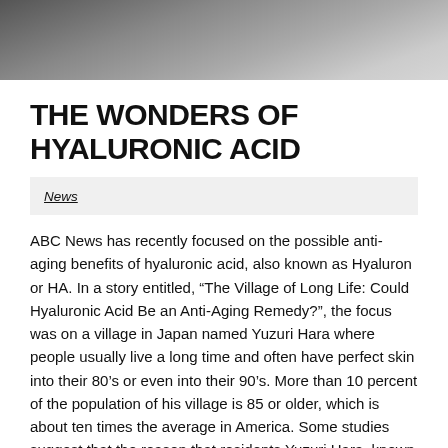[Figure (photo): Black and white close-up photo of a person's face, partially visible, showing skin texture]
THE WONDERS OF HYALURONIC ACID
News
ABC News has recently focused on the possible anti-aging benefits of hyaluronic acid, also known as Hyaluron or HA. In a story entitled, “The Village of Long Life: Could Hyaluronic Acid Be an Anti-Aging Remedy?”, the focus was on a village in Japan named Yuzuri Hara where people usually live a long time and often have perfect skin into their 80’s or even into their 90’s. More than 10 percent of the population of his village is 85 or older, which is about ten times the average in America. Some studies suggest that the reason that residents Yuzuri Hara, known as “The Village of Long Life,” live such long and healthy lives is